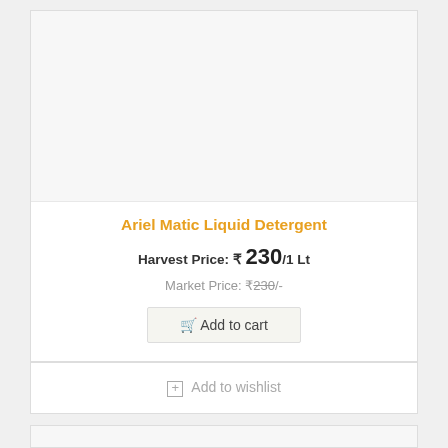[Figure (other): Product image area — light gray background, empty product image placeholder for Ariel Matic Liquid Detergent]
Ariel Matic Liquid Detergent
Harvest Price: ₹ 230/1 Lt
Market Price: ₹230/-
Add to cart
Add to wishlist
[Figure (other): Second product card — light gray background, empty product image placeholder]